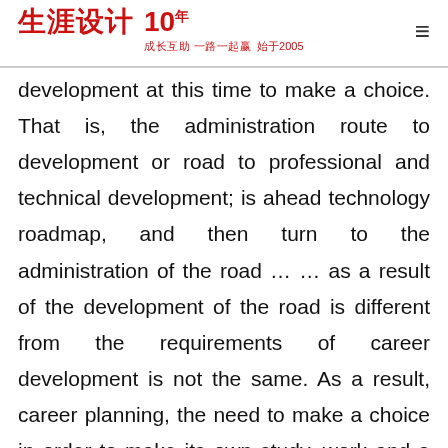生涯设计 10年 成长互助 一路一起赢 始于2005
development at this time to make a choice. That is, the administration route to development or road to professional and technical development; is ahead technology roadmap, and then turn to the administration of the road … … as a result of the development of the road is different from the requirements of career development is not the same. As a result, career planning, the need to make a choice in order to make its own study, work and a variety of action along your route or